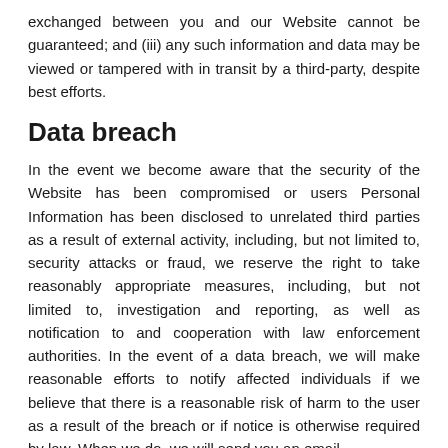exchanged between you and our Website cannot be guaranteed; and (iii) any such information and data may be viewed or tampered with in transit by a third-party, despite best efforts.
Data breach
In the event we become aware that the security of the Website has been compromised or users Personal Information has been disclosed to unrelated third parties as a result of external activity, including, but not limited to, security attacks or fraud, we reserve the right to take reasonably appropriate measures, including, but not limited to, investigation and reporting, as well as notification to and cooperation with law enforcement authorities. In the event of a data breach, we will make reasonable efforts to notify affected individuals if we believe that there is a reasonable risk of harm to the user as a result of the breach or if notice is otherwise required by law. When we do, we will send you an email.
Legal disclosure
We will disclose any information we collect, use or receive if required